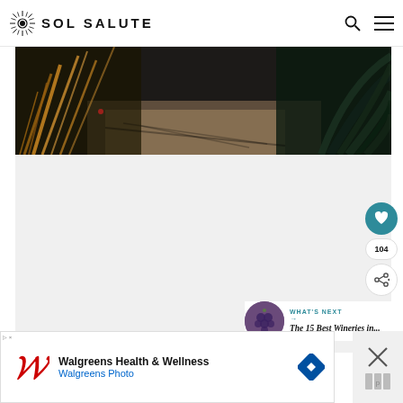SOL SALUTE
[Figure (photo): Close-up photo of succulent or tropical plants with dramatic lighting and shadows, dark tones]
[Figure (screenshot): Website content area showing a like button (heart icon, teal circle), count badge showing 104, share button, and a 'What's Next' panel with thumbnail and text 'The 15 Best Wineries in...']
[Figure (photo): Advertisement banner: Walgreens Health & Wellness / Walgreens Photo with Walgreens logo and navigation arrow icon]